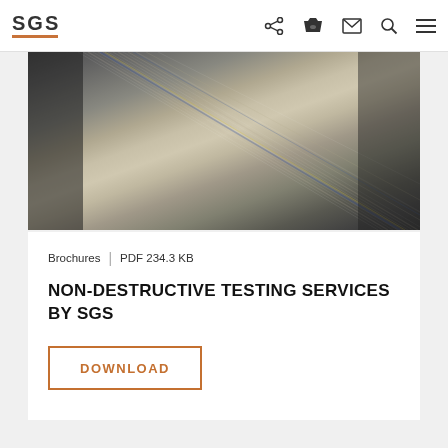SGS
[Figure (photo): Close-up photo of stacked book or document pages fanned out, showing edges of multiple pages in a blurred, angled view with muted tones of grey, beige, and hints of blue and yellow.]
Brochures | PDF 234.3 KB
NON-DESTRUCTIVE TESTING SERVICES BY SGS
DOWNLOAD